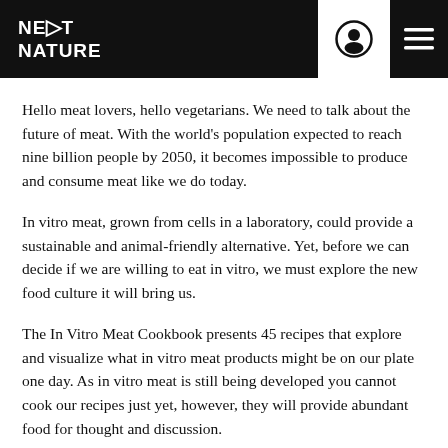NEXT NATURE
Hello meat lovers, hello vegetarians. We need to talk about the future of meat. With the world's population expected to reach nine billion people by 2050, it becomes impossible to produce and consume meat like we do today.
In vitro meat, grown from cells in a laboratory, could provide a sustainable and animal-friendly alternative. Yet, before we can decide if we are willing to eat in vitro, we must explore the new food culture it will bring us.
The In Vitro Meat Cookbook presents 45 recipes that explore and visualize what in vitro meat products might be on our plate one day. As in vitro meat is still being developed you cannot cook our recipes just yet, however, they will provide abundant food for thought and discussion.
Using the format of the cookbook as a storytelling medium, the In